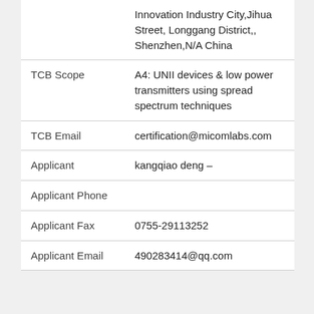| Field | Value |
| --- | --- |
|  | Innovation Industry City,Jihua Street, Longgang District,, Shenzhen,N/A China |
| TCB Scope | A4: UNII devices & low power transmitters using spread spectrum techniques |
| TCB Email | certification@micomlabs.com |
| Applicant | kangqiao deng – |
| Applicant Phone |  |
| Applicant Fax | 0755-29113252 |
| Applicant Email | 490283414@qq.com |